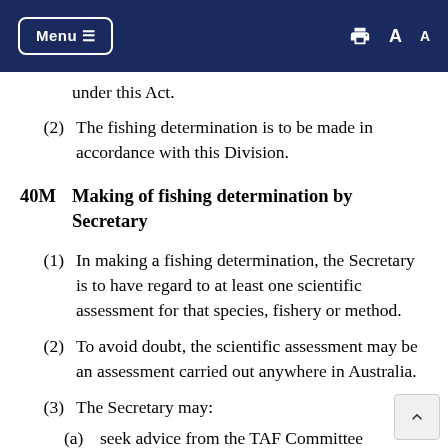Menu [navigation bar with print and font size icons]
(2) The fishing determination is to be made in accordance with this Division.
40M Making of fishing determination by Secretary
(1) In making a fishing determination, the Secretary is to have regard to at least one scientific assessment for that species, fishery or method.
(2) To avoid doubt, the scientific assessment may be an assessment carried out anywhere in Australia.
(3) The Secretary may:
(a) seek advice from the TAF Committee